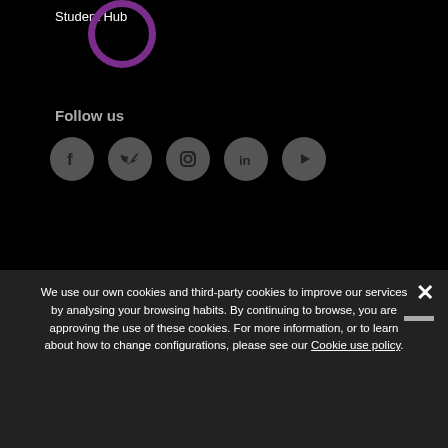Student Hub
Follow us
[Figure (illustration): Social media icons: Facebook, Twitter, Instagram, LinkedIn, YouTube — grey circles on black background]
Accredited by:
[Figure (logo): AACSB Accredited logo, EFMD EQUIS Accredited logo, Association of MBAs (AMBA) Accredited logo]
Member of:
We use our own cookies and third-party cookies to improve our services by analysing your browsing habits. By continuing to browse, you are approving the use of these cookies. For more information, or to learn about how to change configurations, please see our Cookie use policy.